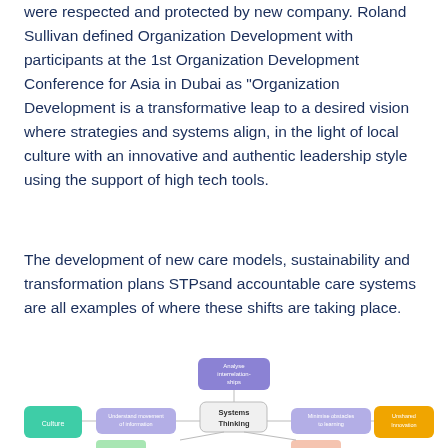were respected and protected by new company. Roland Sullivan defined Organization Development with participants at the 1st Organization Development Conference for Asia in Dubai as "Organization Development is a transformative leap to a desired vision where strategies and systems align, in the light of local culture with an innovative and authentic leadership style using the support of high tech tools.
The development of new care models, sustainability and transformation plans STPsand accountable care systems are all examples of where these shifts are taking place.
[Figure (flowchart): Systems Thinking mind-map/flowchart diagram with a central node labeled 'Systems Thinking' connected to surrounding nodes: 'Analyse interrelationships' (above, purple), 'Understand movement of information' (left-mid, light purple), 'Minimise obstacles to learning' (right-mid, light purple), 'Culture' (left, green), 'Unshared Innovation' (right, yellow/orange), and partial nodes at the bottom.]